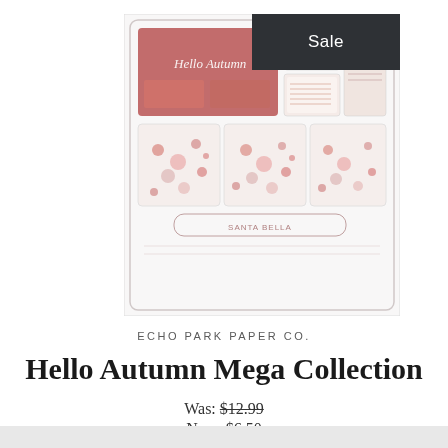[Figure (photo): Product image of Hello Autumn Mega Collection paper craft kit, showing multiple patterned paper sheets and embellishments in autumn colors, with a dark 'Sale' badge in the top right corner]
ECHO PARK PAPER CO.
Hello Autumn Mega Collection
Was: $12.99
Now: $6.50